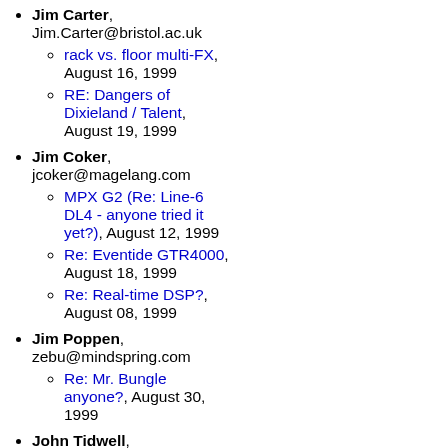Effects, August 01, 1999 (continuation)
Jim Carter, Jim.Carter@bristol.ac.uk — rack vs. floor multi-FX, August 16, 1999; RE: Dangers of Dixieland / Talent, August 19, 1999
Jim Coker, jcoker@magelang.com — MPX G2 (Re: Line-6 DL4 - anyone tried it yet?), August 12, 1999; Re: Eventide GTR4000, August 18, 1999; Re: Real-time DSP?, August 08, 1999
Jim Poppen, zebu@mindspring.com — Re: Mr. Bungle anyone?, August 30, 1999
John Tidwell, wedgehed@yahoo.com